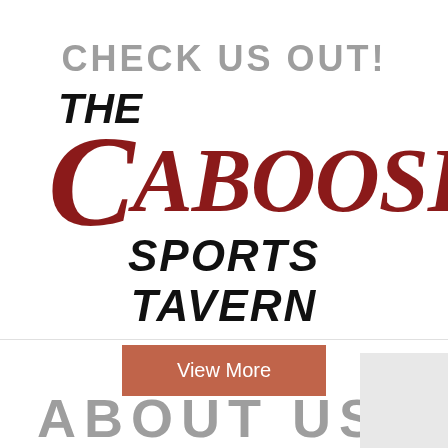CHECK US OUT!
[Figure (logo): The Caboose Sports Tavern logo — 'THE' in black italic, large dark red serif 'C' followed by 'ABOOSE' in dark red serif italic, 'SPORTS TAVERN' in black bold italic below]
View More
ABOUT US